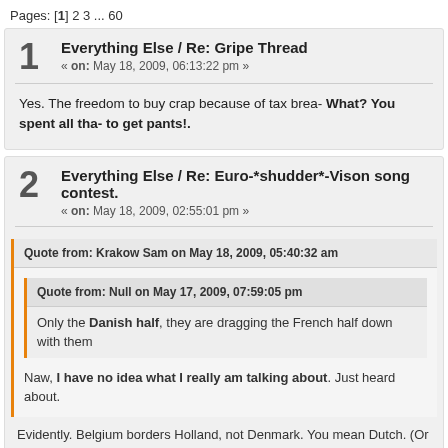Pages: [1] 2 3 ... 60
1  Everything Else / Re: Gripe Thread
« on: May 18, 2009, 06:13:22 pm »
Yes. The freedom to buy crap because of tax brea- What? You spent all tha- to get pants!.
2  Everything Else / Re: Euro-*shudder*-Vison song contest.
« on: May 18, 2009, 02:55:01 pm »
Quote from: Krakow Sam on May 18, 2009, 05:40:32 am
Quote from: Null on May 17, 2009, 07:59:05 pm
Only the Danish half, they are dragging the French half down with them
Naw, I have no idea what I really am talking about. Just heard about.
Evidently. Belgium borders Holland, not Denmark. You mean Dutch. (Or m